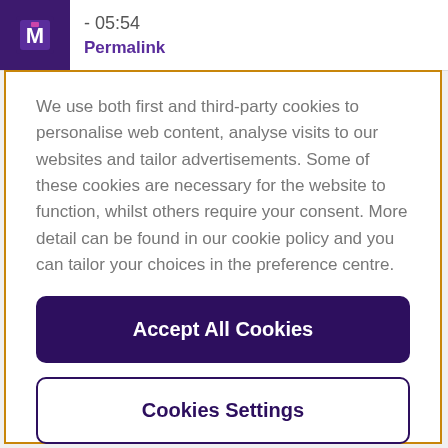- 05:54
Permalink
We use both first and third-party cookies to personalise web content, analyse visits to our websites and tailor advertisements. Some of these cookies are necessary for the website to function, whilst others require your consent. More detail can be found in our cookie policy and you can tailor your choices in the preference centre.
Accept All Cookies
Cookies Settings